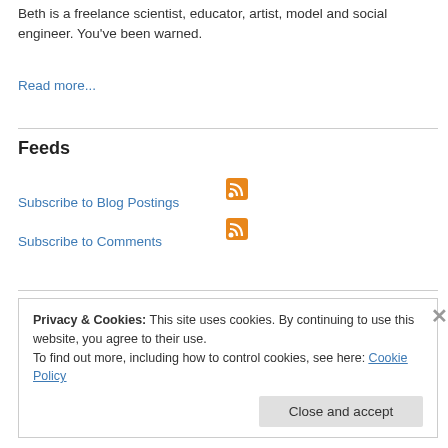Beth is a freelance scientist, educator, artist, model and social engineer. You've been warned.
Read more...
Feeds
Subscribe to Blog Postings
Subscribe to Comments
Privacy & Cookies: This site uses cookies. By continuing to use this website, you agree to their use.
To find out more, including how to control cookies, see here: Cookie Policy
Close and accept